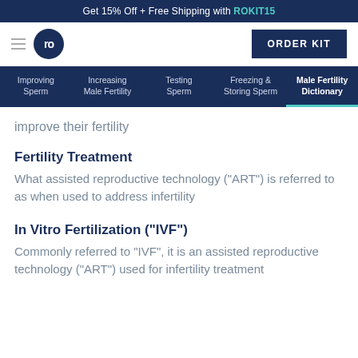Get 15% Off + Free Shipping with ROKIT15
[Figure (logo): ro logo circle and ORDER KIT button]
Improving Sperm | Increasing Male Fertility | Testing Sperm | Freezing & Storing Sperm | Male Fertility Dictionary
improve their fertility
Fertility Treatment
What assisted reproductive technology ("ART") is referred to as when used to address infertility
In Vitro Fertilization ("IVF")
Commonly referred to "IVF", it is an assisted reproductive technology ("ART") used for infertility treatment